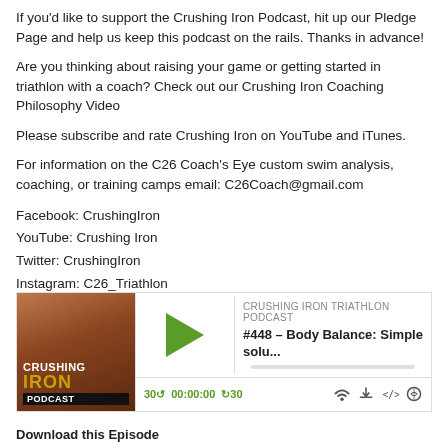If you'd like to support the Crushing Iron Podcast, hit up our Pledge Page and help us keep this podcast on the rails. Thanks in advance!
Are you thinking about raising your game or getting started in triathlon with a coach? Check out our Crushing Iron Coaching Philosophy Video
Please subscribe and rate Crushing Iron on YouTube and iTunes.
For information on the C26 Coach's Eye custom swim analysis, coaching, or training camps email: C26Coach@gmail.com
Facebook: CrushingIron
YouTube: Crushing Iron
Twitter: CrushingIron
Instagram: C26_Triathlon
www.c26triathlon.com
Mike Tarrolly - crushingiron@gmail.com
Robbie Bruce - c26coach@gmail.com
[Figure (screenshot): Podcast player widget for Crushing Iron Triathlon Podcast episode #448 – Body Balance: Simple solu... with play button, progress bar, and controls showing 30-second skip back, 00:00:00 timestamp, 30-second skip forward, and icons for cast, download, embed, and share.]
Download this Episode